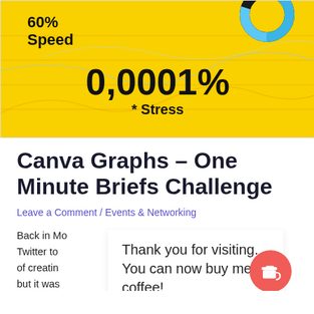[Figure (infographic): Yellow background infographic showing '60% Speed' in top left, a blue donut chart in top right, and '0,0001% * Stress' in large bold text in the center-bottom, with line art curves in the background.]
Canva Graphs – One Minute Briefs Challenge
Leave a Comment / Events & Networking
Back in Mo... illenge on Twitter to... and... of creatin... ch... but it was... creati...
Thank you for visiting. You can now buy me a coffee!